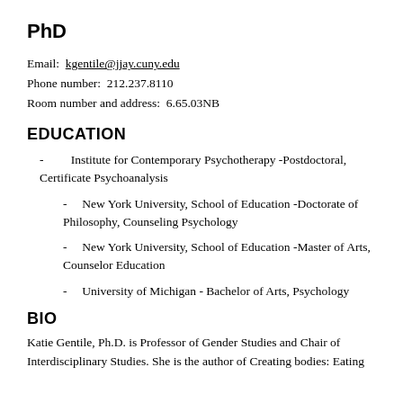PhD
Email: kgentile@jjay.cuny.edu
Phone number: 212.237.8110
Room number and address: 6.65.03NB
EDUCATION
- Institute for Contemporary Psychotherapy -Postdoctoral, Certificate Psychoanalysis
- New York University, School of Education -Doctorate of Philosophy, Counseling Psychology
- New York University, School of Education -Master of Arts, Counselor Education
- University of Michigan - Bachelor of Arts, Psychology
BIO
Katie Gentile, Ph.D. is Professor of Gender Studies and Chair of Interdisciplinary Studies. She is the author of Creating bodies: Eating